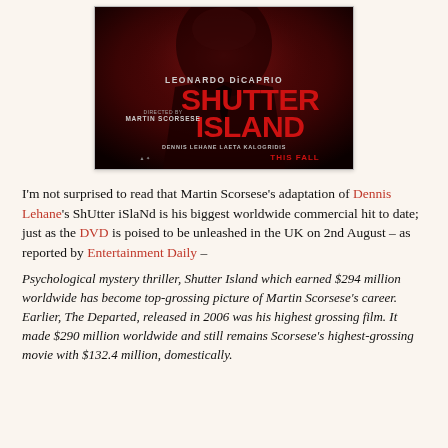[Figure (photo): Movie poster for Shutter Island featuring Leonardo DiCaprio, directed by Martin Scorsese. Dark red/black themed poster with large red text reading SHUTTER ISLAND. Text also shows LEONARDO DiCAPRIO, MARTIN SCORSESE, DENNIS LEHANE, LAETA KALOGRIDIS, THIS FALL.]
I'm not surprised to read that Martin Scorsese's adaptation of Dennis Lehane's ShUtter iSlaNd is his biggest worldwide commercial hit to date; just as the DVD is poised to be unleashed in the UK on 2nd August – as reported by Entertainment Daily –
Psychological mystery thriller, Shutter Island which earned $294 million worldwide has become top-grossing picture of Martin Scorsese's career. Earlier, The Departed, released in 2006 was his highest grossing film. It made $290 million worldwide and still remains Scorsese's highest-grossing movie with $132.4 million, domestically.